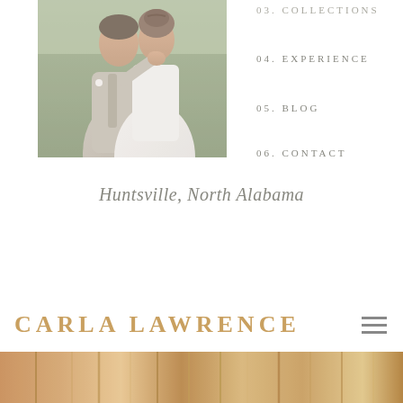[Figure (photo): Wedding couple photo - groom in light grey suit and bride in white dress in an outdoor setting with greenery]
03. COLLECTIONS
04. EXPERIENCE
05. BLOG
06. CONTACT
Huntsville, North Alabama
CARLA LAWRENCE
[Figure (photo): Bottom strip showing partial wedding/decorative photo in warm golden tones]